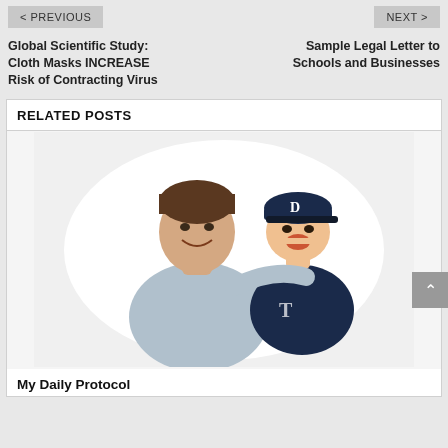< PREVIOUS    NEXT >
Global Scientific Study: Cloth Masks INCREASE Risk of Contracting Virus
Sample Legal Letter to Schools and Businesses
RELATED POSTS
[Figure (photo): A man smiling holding a young boy wearing a Detroit Tigers baseball cap, both happy, photo appears heart-shaped or cut out against white background]
My Daily Protocol